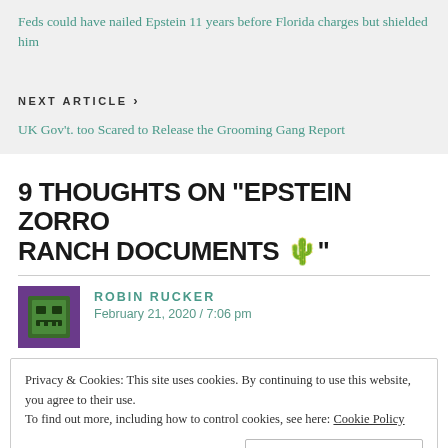Feds could have nailed Epstein 11 years before Florida charges but shielded him
NEXT ARTICLE ›
UK Gov't. too Scared to Release the Grooming Gang Report
9 THOUGHTS ON "EPSTEIN ZORRO RANCH DOCUMENTS 🌵"
ROBIN RUCKER
February 21, 2020 / 7:06 pm
Privacy & Cookies: This site uses cookies. By continuing to use this website, you agree to their use.
To find out more, including how to control cookies, see here: Cookie Policy
Close and accept